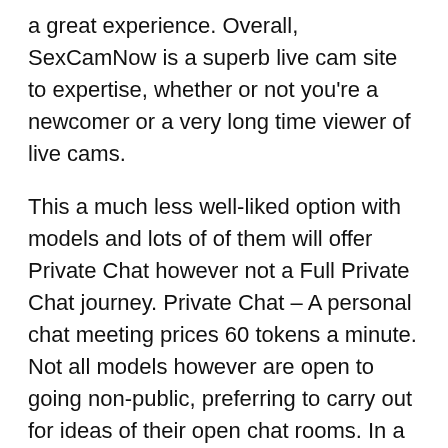a great experience. Overall, SexCamNow is a superb live cam site to expertise, whether or not you're a newcomer or a very long time viewer of live cams.
This a much less well-liked option with models and lots of of them will offer Private Chat however not a Full Private Chat journey. Private Chat – A personal chat meeting prices 60 tokens a minute. Not all models however are open to going non-public, preferring to carry out for ideas of their open chat rooms. In a private chat though you've the model's full consideration. While you might be in a personal chat, different users can nonetheless spy in your show.